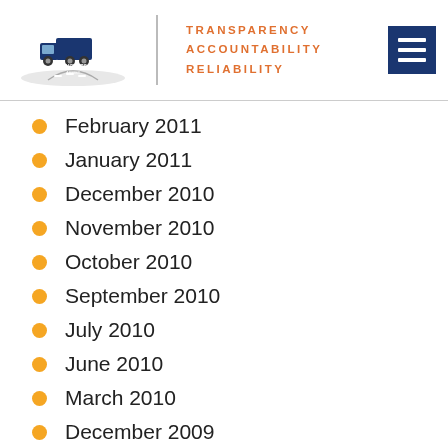Truckers Assist — Transparency Accountability Reliability
February 2011
January 2011
December 2010
November 2010
October 2010
September 2010
July 2010
June 2010
March 2010
December 2009